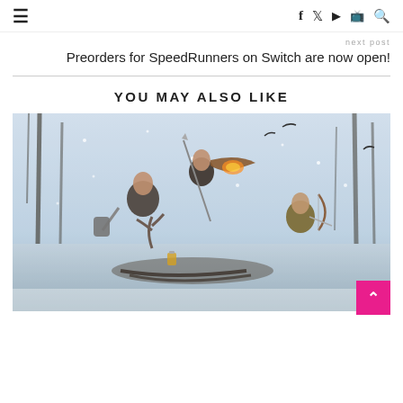≡  f  🐦  ▶  📺  🔍
next post
Preorders for SpeedRunners on Switch are now open!
YOU MAY ALSO LIKE
[Figure (illustration): Action scene from a video game showing two warrior characters fighting in a snowy forest setting; one bald character wields an axe, a female character leaps through the air, and a third character defends with a bow and arrow. A sled with antlers is visible on the ground.]